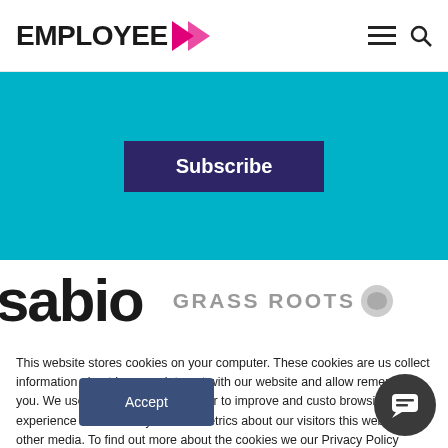EMPLOYEE >
[Figure (logo): Employee Benefits website logo with pink arrow chevron and navigation hamburger/search icons]
Subscribe
[Figure (logo): sabio logo and GRASS ROOTS logo on white strip]
This website stores cookies on your computer. These cookies are us collect information about how you interact with our website and allow remember you. We use this information in order to improve and custo browsing experience and for analytics and metrics about our visitors this website and other media. To find out more about the cookies we our Privacy Policy
Accept